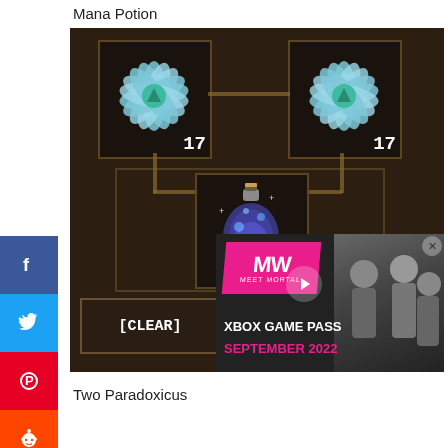Mana Potion
[Figure (screenshot): Game crafting interface showing two blue/white Paradoxicus flower items (each quantity 17) connected via a grid to a central mana potion item, with a [CLEAR] button at the bottom left. An Xbox Game Pass September 2022 advertisement overlays the bottom right corner.]
Two Paradoxicus